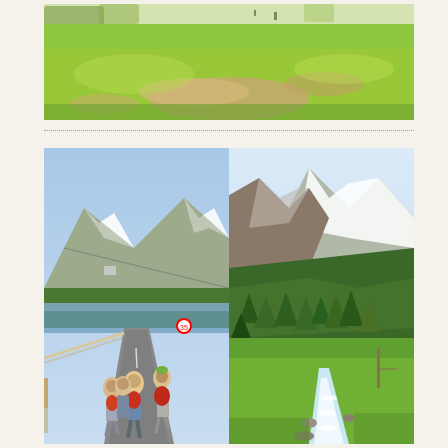[Figure (photo): A wide green alpine meadow with scattered patches of bare earth and rocks, bright sunlight, trees visible in the background at the top of the frame]
[Figure (photo): Left: A group of hikers with backpacks walking away from the camera on a road alongside a lake, with snow-capped mountains in the background. Right: A mountain stream or river flowing through a green alpine valley with forested slopes and snow-capped peaks visible.]